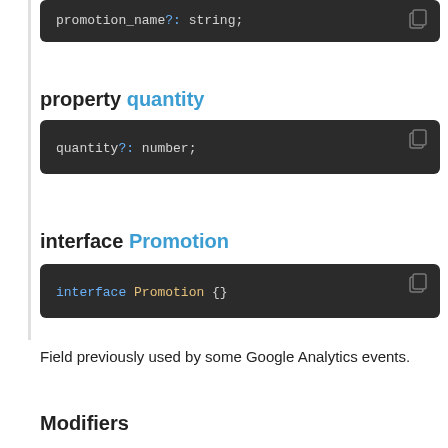[Figure (screenshot): Code block showing: promotion_name?: string;]
property quantity
[Figure (screenshot): Code block showing: quantity?: number;]
interface Promotion
[Figure (screenshot): Code block showing: interface Promotion {}]
Field previously used by some Google Analytics events.
Modifiers